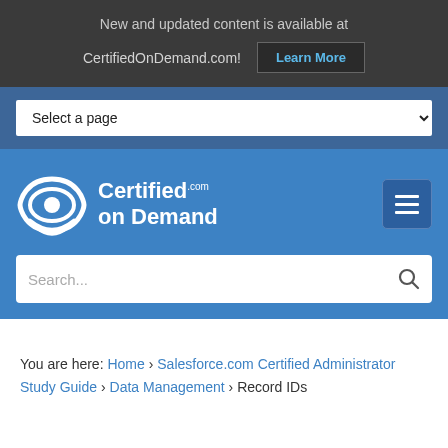New and updated content is available at
CertifiedOnDemand.com!
Learn More
Select a page
[Figure (logo): Certified on Demand logo with white swoosh/eye icon and white text reading 'Certified.com on Demand']
Search...
You are here: Home › Salesforce.com Certified Administrator Study Guide › Data Management › Record IDs